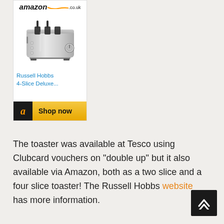[Figure (screenshot): Amazon.co.uk product widget showing a Russell Hobbs 4-Slice Deluxe toaster with a 'Shop now' button at the bottom]
The toaster was available at Tesco using Clubcard vouchers on “double up” but it also available via Amazon, both as a two slice and a four slice toaster! The Russell Hobbs website has more information.